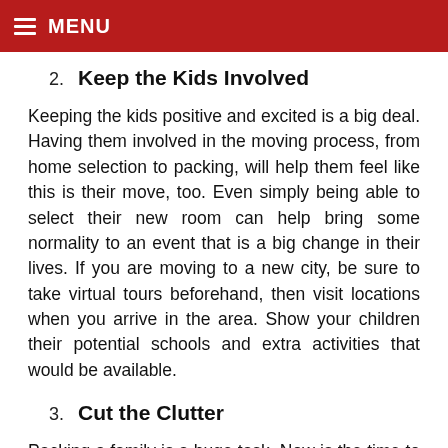MENU
2. Keep the Kids Involved
Keeping the kids positive and excited is a big deal. Having them involved in the moving process, from home selection to packing, will help them feel like this is their move, too. Even simply being able to select their new room can help bring some normality to an event that is a big change in their lives. If you are moving to a new city, be sure to take virtual tours beforehand, then visit locations when you arrive in the area. Show your children their potential schools and extra activities that would be available.
3. Cut the Clutter
Packing a family is a huge task. Now is the time to cut the clutter. Have your children go through their things and donate or toss any items they no longer use. You do the same to save yourself the extra time and work packing things you no longer need. Having a yard sale if you have the time is a